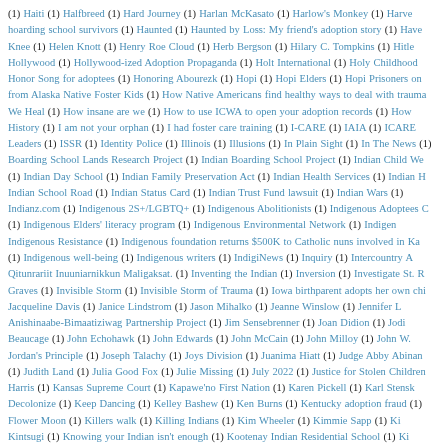(1) Haiti (1) Halfbreed (1) Hard Journey (1) Harlan McKasato (1) Harlow's Monkey (1) Harve... hoarding school survivors (1) Haunted (1) Haunted by Loss: My friend's adoption story (1) Have... Knee (1) Helen Knott (1) Henry Roe Cloud (1) Herb Bergson (1) Hilary C. Tompkins (1) Hitle... Hollywood (1) Hollywood-ized Adoption Propaganda (1) Holt International (1) Holy Childhood... Honor Song for adoptees (1) Honoring Abourezk (1) Hopi (1) Hopi Elders (1) Hopi Prisoners on... from Alaska Native Foster Kids (1) How Native Americans find healthy ways to deal with trauma... We Heal (1) How insane are we (1) How to use ICWA to open your adoption records (1) How... History (1) I am not your orphan (1) I had foster care training (1) I-CARE (1) IAIA (1) ICARE... Leaders (1) ISSR (1) Identity Police (1) Illinois (1) Illusions (1) In Plain Sight (1) In The News (1)... Boarding School Lands Research Project (1) Indian Boarding School Project (1) Indian Child We... (1) Indian Day School (1) Indian Family Preservation Act (1) Indian Health Services (1) Indian H... Indian School Road (1) Indian Status Card (1) Indian Trust Fund lawsuit (1) Indian Wars (1)... Indianz.com (1) Indigenous 2S+/LGBTQ+ (1) Indigenous Abolitionists (1) Indigenous Adoptees C... (1) Indigenous Elders' literacy program (1) Indigenous Environmental Network (1) Indigen... Indigenous Resistance (1) Indigenous foundation returns $500K to Catholic nuns involved in Ka... (1) Indigenous well-being (1) Indigenous writers (1) IndigiNews (1) Inquiry (1) Intercountry A... Qitunrariit Inuuniarnikkun Maligaksat. (1) Inventing the Indian (1) Inversion (1) Investigate St. R... Graves (1) Invisible Storm (1) Invisible Storm of Trauma (1) Iowa birthparent adopts her own chi... Jacqueline Davis (1) Janice Lindstrom (1) Jason Mihalko (1) Jeanne Winslow (1) Jennifer L... Anishinaabe-Bimaatiziwag Partnership Project (1) Jim Sensebrenner (1) Joan Didion (1) Jodi... Beaucage (1) John Echohawk (1) John Edwards (1) John McCain (1) John Milloy (1) John W.... Jordan's Principle (1) Joseph Talachy (1) Joys Division (1) Juanima Hiatt (1) Judge Abby Abinan... (1) Judith Land (1) Julia Good Fox (1) Julie Missing (1) July 2022 (1) Justice for Stolen Children... Harris (1) Kansas Supreme Court (1) Kapawe'no First Nation (1) Karen Pickell (1) Karl Stensk... Decolonize (1) Keep Dancing (1) Kelley Bashew (1) Ken Burns (1) Kentucky adoption fraud (1)... Flower Moon (1) Killers walk (1) Killing Indians (1) Kim Wheeler (1) Kimmie Sapp (1) Ki... Kintsugj (1) Knowing your Indian isn't enough (1) Kootenay Indian Residential School (1) Ki...